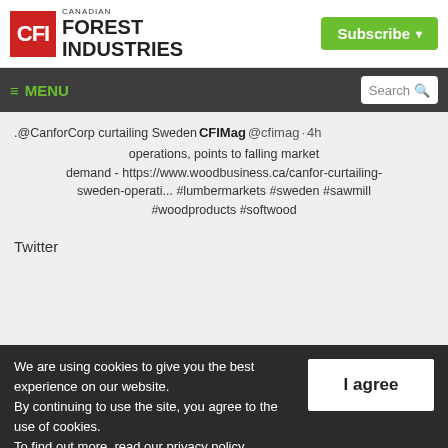[Figure (logo): Canadian Forest Industries logo with red CFI box and black bold text]
Subscribe ▼
≡ MENU   Search 🔍
.@CanforCorp curtailing Sweden CFIMag @cfimag · 4h operations, points to falling market demand - https://www.woodbusiness.ca/canfor-curtailing-sweden-operati... #lumbermarkets #sweden #sawmill #woodproducts #softwood
Twitter
We are using cookies to give you the best experience on our website.
By continuing to use the site, you agree to the use of cookies.
To find out more, read our privacy policy.